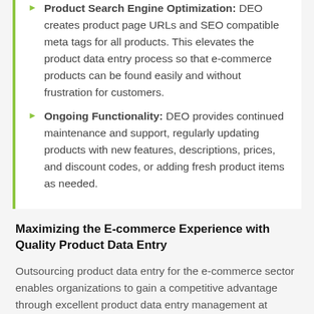Product Search Engine Optimization: DEO creates product page URLs and SEO compatible meta tags for all products. This elevates the product data entry process so that e-commerce products can be found easily and without frustration for customers.
Ongoing Functionality: DEO provides continued maintenance and support, regularly updating products with new features, descriptions, prices, and discount codes, or adding fresh product items as needed.
Maximizing the E-commerce Experience with Quality Product Data Entry
Outsourcing product data entry for the e-commerce sector enables organizations to gain a competitive advantage through excellent product data entry management at scalable, affordable prices. Data Entry Outsourced is committed to meeting varied business needs with accurate product data